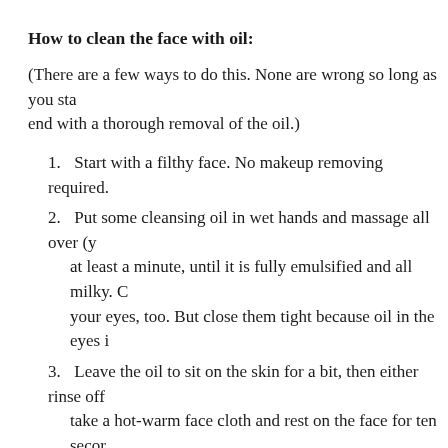How to clean the face with oil:
(There are a few ways to do this. None are wrong so long as you sta end with a thorough removal of the oil.)
1. Start with a filthy face. No makeup removing required.
2. Put some cleansing oil in wet hands and massage all over (y at least a minute, until it is fully emulsified and all milky. C your eyes, too. But close them tight because oil in the eyes i
3. Leave the oil to sit on the skin for a bit, then either rinse off take a hot-warm face cloth and rest on the face for ten secor the oils into the skin.
4. Wipe the oil off the face with the cloth (or just rinse) til she'
If your skin feels great, stop there, or follow with your regular clear clean, also known as a double clean I mentioned earlier. Then serun
Have you tried cleansing oil? Made your own? Tell us your tale, yo